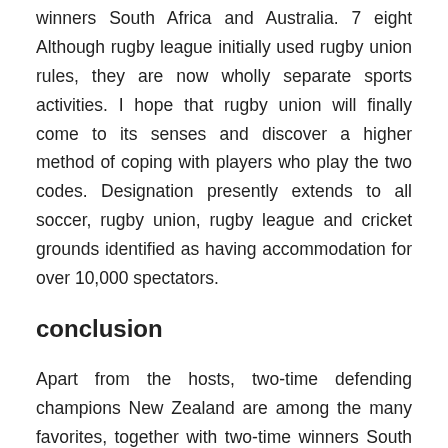winners South Africa and Australia. 7 eight Although rugby league initially used rugby union rules, they are now wholly separate sports activities. I hope that rugby union will finally come to its senses and discover a higher method of coping with players who play the two codes. Designation presently extends to all soccer, rugby union, rugby league and cricket grounds identified as having accommodation for over 10,000 spectators.
conclusion
Apart from the hosts, two-time defending champions New Zealand are among the many favorites, together with two-time winners South Africa and Australia. Advice for Scotland followers travelling to Rome, Italy, for the 2020 Rugby Union Six Nations match against Italy on 22